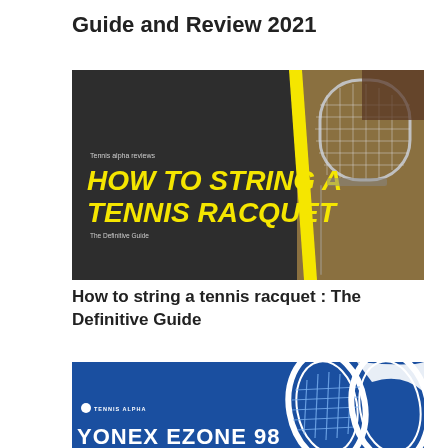Guide and Review 2021
[Figure (photo): Thumbnail image with dark background and yellow diagonal stripe. Text: 'Tennis alpha reviews' and 'HOW TO STRING A TENNIS RACQUET – The Definitive Guide' in bold yellow/italic font. Right side shows a photo of a tennis racquet being strung.]
How to string a tennis racquet : The Definitive Guide
[Figure (photo): Thumbnail image with blue background showing tennis racquets. 'TENNIS ALPHA' label in upper left with white circle icon. Large white text at bottom partially visible: 'YONEX EZONE 98']